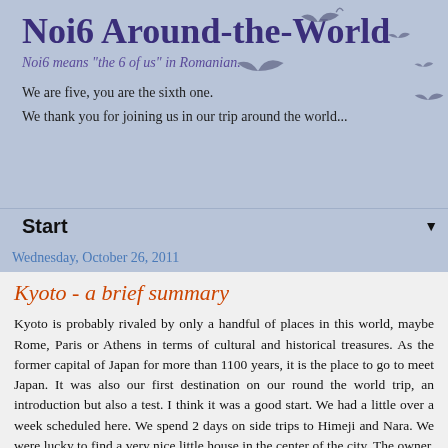Noi6 Around-the-World
Noi6 means "the 6 of us" in Romanian.
We are five, you are the sixth one.
We thank you for joining us in our trip around the world...
Start
Wednesday, October 26, 2011
Kyoto - a brief summary
Kyoto is probably rivaled by only a handful of places in this world, maybe Rome, Paris or Athens in terms of cultural and historical treasures. As the former capital of Japan for more than 1100 years, it is the place to go to meet Japan. It was also our first destination on our round the world trip, an introduction but also a test. I think it was a good start. We had a little over a week scheduled here. We spend 2 days on side trips to Himeji and Nara. We were lucky to find a very nice little house in the center of the city. The owner, Kazuya - a perfect host - let us check out at 8 pm, one extra day - the children spend it all in the